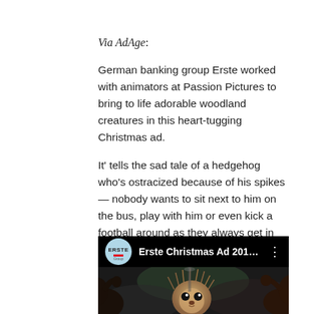Via AdAge:
German banking group Erste worked with animators at Passion Pictures to bring to life adorable woodland creatures in this heart-tugging Christmas ad.
It' tells the sad tale of a hedgehog who's ostracized because of his spikes — nobody wants to sit next to him on the bus, play with him or even kick a football around as they always get in the way. Eventually, the other animals come up with an ingenious solution (although we're not quite sure if it's environmentally sound) and he finally gets to feel some holiday love.
[Figure (screenshot): YouTube video thumbnail showing 'Erste Christmas Ad 2018:...' with the Erste Group logo circle and a hedgehog character from the animated advertisement. The hedgehog is in the center with wide eyes, surrounded by other animated animals on a dark background.]